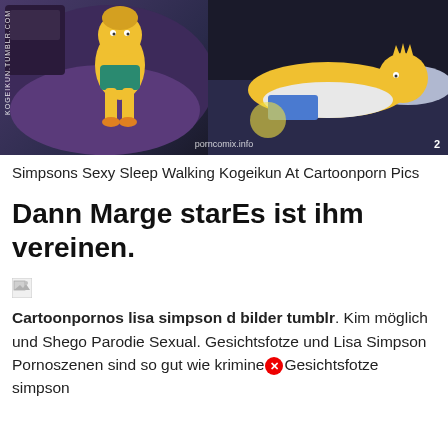[Figure (illustration): Cartoon/animation style illustration showing two Simpsons characters in adult/parody context. Left side shows a female character in a purple bed setting, right side shows another character lying down. Watermark text 'KOGEIKUN.TUMBLR.COM' on left side, 'porncomix.info' at bottom center, number '2' at bottom right.]
Simpsons Sexy Sleep Walking Kogeikun At Cartoonporn Pics
Dann Marge starEs ist ihm vereinen.
[Figure (illustration): Broken/missing image placeholder icon]
Cartoonpornos lisa simpson d bilder tumblr. Kim möglich und Shego Parodie Sexual. Gesichtsfotze und Lisa Simpson Pornoszenen sind so gut wie krimine❌Gesichtsfotze simpson